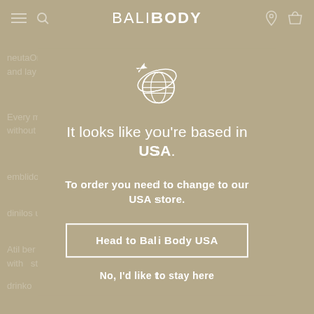BALIBODY
[Figure (illustration): Globe with airplane orbiting around it, drawn in white outline style]
It looks like you're based in USA.
To order you need to change to our USA store.
Head to Bali Body USA
No, I'd like to stay here